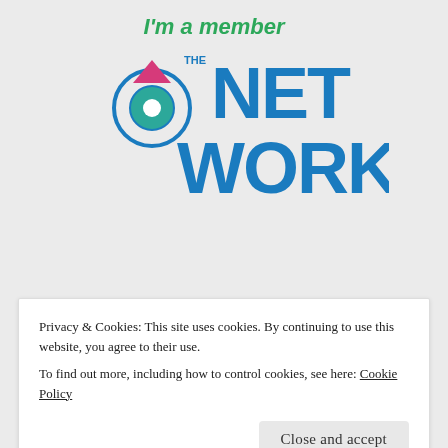[Figure (logo): The Network Niche membership logo — 'I'm a member' in green italic text above a circular target/eye icon with a pink downward triangle, beside large blue block letters 'NET WORK' with dark blue vertical 'NICHE' text rotated on the right side]
[Figure (logo): Everywhere Society member badge — dark grey speech bubble shape with white 'MEMBER' text, overlapping a rounded rectangle border containing orange 'EVERY' and grey 'WHERE' text with a registered trademark symbol, and grey 'SOCIETY' text below]
Privacy & Cookies: This site uses cookies. By continuing to use this website, you agree to their use.
To find out more, including how to control cookies, see here: Cookie Policy
Close and accept